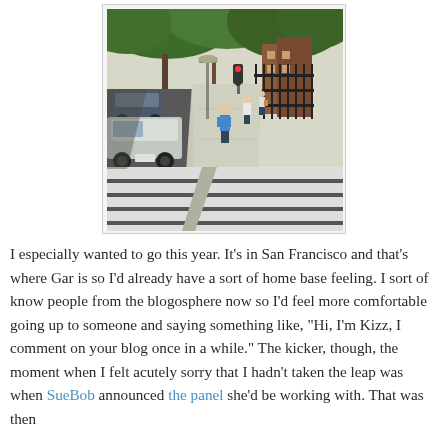[Figure (photo): Street scene showing a sidewalk with pedestrians walking, parked cars on the left, trees overhead, buildings in the background, and a crosswalk with white stripes in the foreground.]
I especially wanted to go this year. It's in San Francisco and that's where Gar is so I'd already have a sort of home base feeling. I sort of know people from the blogosphere now so I'd feel more comfortable going up to someone and saying something like, "Hi, I'm Kizz, I comment on your blog once in a while." The kicker, though, the moment when I felt acutely sorry that I hadn't taken the leap was when SueBob announced the panel she'd be working with. That was then